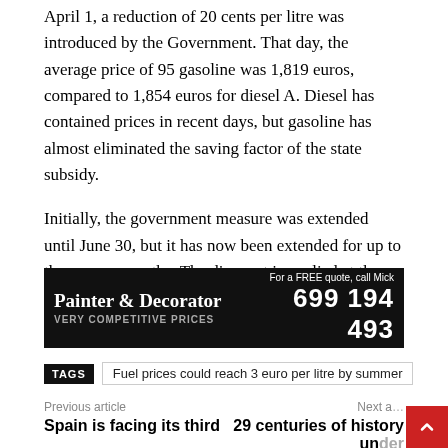April 1, a reduction of 20 cents per litre was introduced by the Government. That day, the average price of 95 gasoline was 1,819 euros, compared to 1,854 euros for diesel A. Diesel has contained prices in recent days, but gasoline has almost eliminated the saving factor of the state subsidy.
Initially, the government measure was extended until June 30, but it has now been extended for up to three more months. The discount is applied at the time of payment, and that is why gas station panels reflect market prices.
[Figure (other): Advertisement banner for Painter & Decorator with text: 'Painter & Decorator VERY COMPETITIVE PRICES For a FREE quote, call Mick 699 194 493' on black background.]
TAGS   Fuel prices could reach 3 euro per litre by summer
Previous article
Next a…
Spain is facing its third
29 centuries of history under